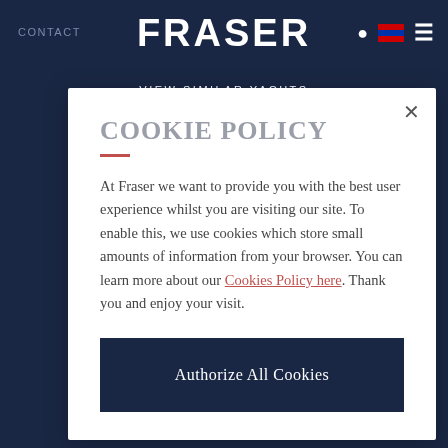CONTACT   FRASER   VIEW SIMILAR YACHTS
COOKIE POLICY
At Fraser we want to provide you with the best user experience whilst you are visiting our site. To enable this, we use cookies which store small amounts of information from your browser. You can learn more about our Cookies Policy here. Thank you and enjoy your visit.
Authorize All Cookies